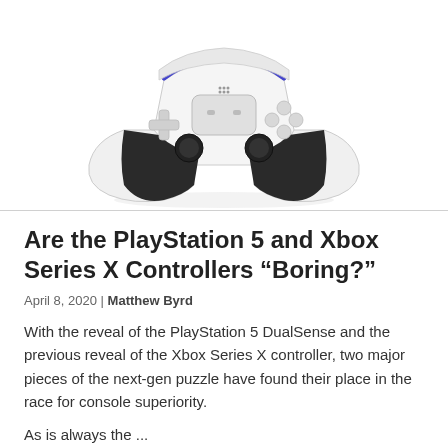[Figure (photo): PlayStation 5 DualSense controller shown from the front, white with black accents and blue highlight, viewed from slightly above]
Are the PlayStation 5 and Xbox Series X Controllers “Boring?”
April 8, 2020 | Matthew Byrd
With the reveal of the PlayStation 5 DualSense and the previous reveal of the Xbox Series X controller, two major pieces of the next-gen puzzle have found their place in the race for console superiority.
As is always the ...
Read More